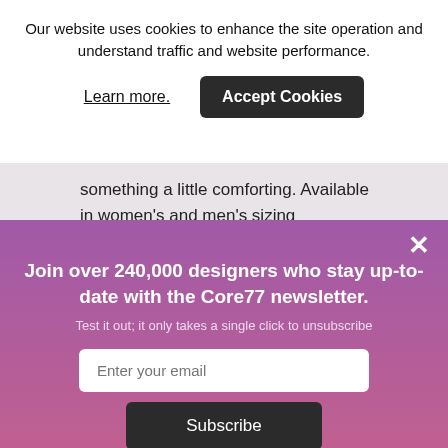Our website uses cookies to enhance the site operation and understand traffic and website performance.
Learn more.
Accept Cookies
something a little comforting. Available in women's and men's sizing
×
Join over 240,000 designers who stay up-to-date with the Core77 newsletter.
Test it out; it only takes a single click to unsubscribe
Enter your email
Subscribe